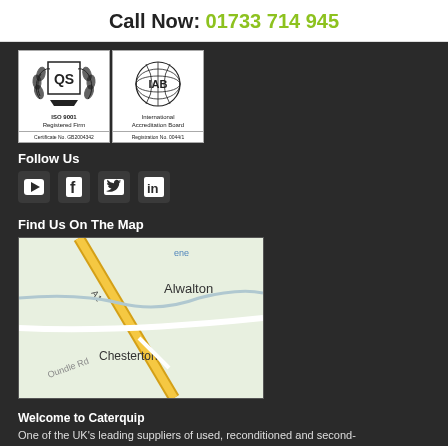Call Now: 01733 714 945
[Figure (logo): ISO 9001 Registered Firm certification badge with QS laurel wreath logo, Certificate No. GB2004342]
[Figure (logo): International Accreditation Board globe logo, Registration No. 0044/1]
Follow Us
[Figure (other): Social media icons: YouTube, Facebook, Twitter, LinkedIn]
Find Us On The Map
[Figure (map): Map showing Alwalton and Chesterton area near A1 road, with Oundle Rd visible]
Welcome to Caterquip
One of the UK's leading suppliers of used, reconditioned and second-